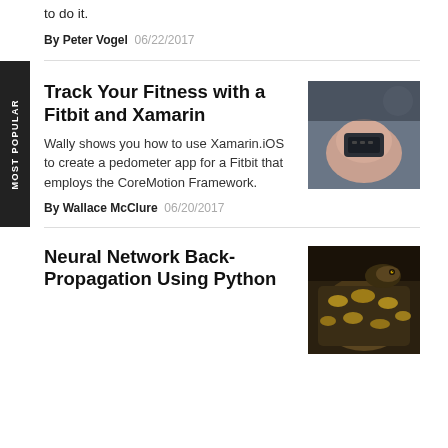to do it.
By Peter Vogel 06/22/2017
Track Your Fitness with a Fitbit and Xamarin
Wally shows you how to use Xamarin.iOS to create a pedometer app for a Fitbit that employs the CoreMotion Framework.
By Wallace McClure 06/20/2017
[Figure (photo): Photo of a person wearing a Fitbit device on their wrist]
Neural Network Back-Propagation Using Python
[Figure (photo): Photo of a snake with patterned scales]